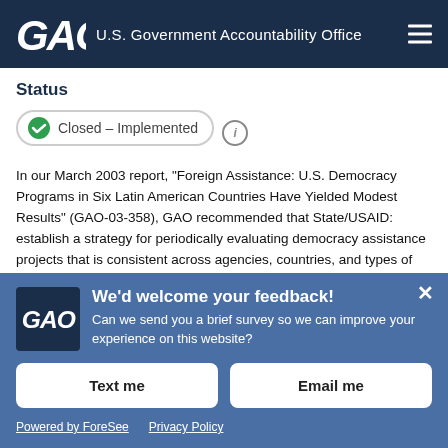GAO — U.S. Government Accountability Office
Status
Closed – Implemented
In our March 2003 report, "Foreign Assistance: U.S. Democracy Programs in Six Latin American Countries Have Yielded Modest Results" (GAO-03-358), GAO recommended that State/USAID: establish a strategy for periodically evaluating democracy assistance projects that is consistent across agencies, countries, and types of programs. In its agency comments on the GAO report, State/USAID agreed that
We'd welcome your feedback! Can we send you a brief survey so we can improve your experience on this website?
Text me
Email me
Powered by ForeSee   Privacy Policy